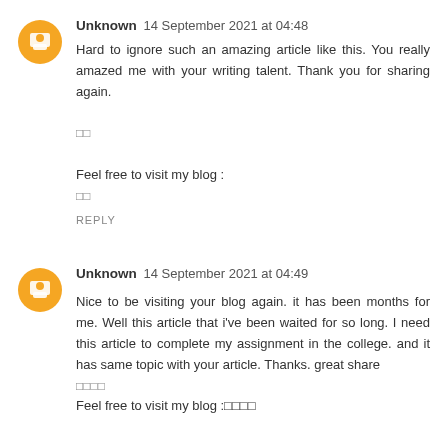Unknown  14 September 2021 at 04:48
Hard to ignore such an amazing article like this. You really amazed me with your writing talent. Thank you for sharing again.

□□

Feel free to visit my blog :
□□
REPLY
Unknown  14 September 2021 at 04:49
Nice to be visiting your blog again. it has been months for me. Well this article that i’ve been waited for so long. I need this article to complete my assignment in the college. and it has same topic with your article. Thanks. great share
□□□□
Feel free to visit my blog :□□□□